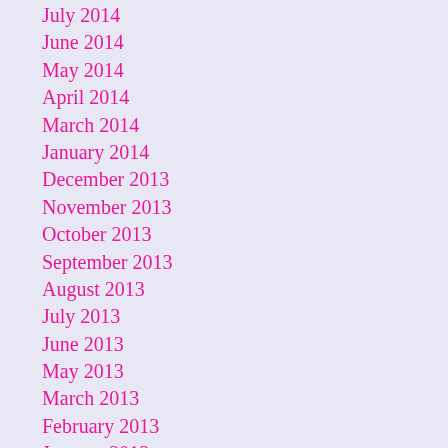July 2014
June 2014
May 2014
April 2014
March 2014
January 2014
December 2013
November 2013
October 2013
September 2013
August 2013
July 2013
June 2013
May 2013
March 2013
February 2013
January 2013
December 2012
November 2012
October 2012